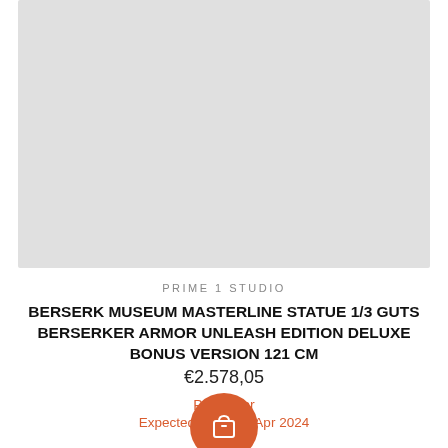[Figure (photo): Light gray placeholder image area for product photo]
PRIME 1 STUDIO
BERSERK MUSEUM MASTERLINE STATUE 1/3 GUTS BERSERKER ARMOR UNLEASH EDITION DELUXE BONUS VERSION 121 CM
€2.578,05
Pre Order
Expected of Apr 2024